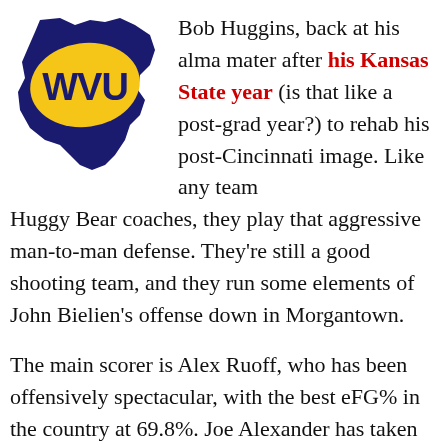[Figure (logo): West Virginia University (WVU) logo — gold WVU letters on a football/shield shape over a dark blue silhouette of West Virginia state]
Bob Huggins, back at his alma mater after his Kansas State year (is that like a post-grad year?) to rehab his post-Cincinnati image. Like any team Huggy Bear coaches, they play that aggressive man-to-man defense. They're still a good shooting team, and they run some elements of John Bielien's offense down in Morgantown.
The main scorer is Alex Ruoff, who has been offensively spectacular, with the best eFG% in the country at 69.8%. Joe Alexander has taken to the power forward position, pulling down 6 boards per game. Da'Sean Butler has done the same, especially on the offensive glass. And Darris Nichols has handled the ballhandling with very few turnovers. Three-point shooting center Jamie Smalligan may or may not start: